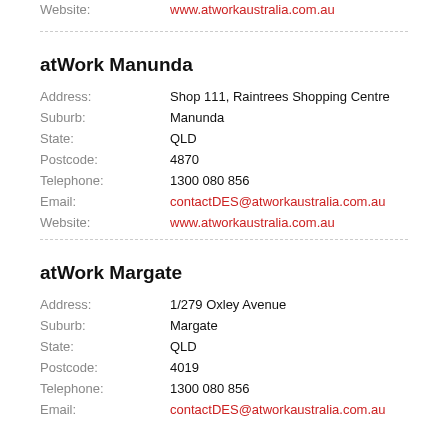Website: www.atworkaustralia.com.au
atWork Manunda
Address: Shop 111, Raintrees Shopping Centre
Suburb: Manunda
State: QLD
Postcode: 4870
Telephone: 1300 080 856
Email: contactDES@atworkaustralia.com.au
Website: www.atworkaustralia.com.au
atWork Margate
Address: 1/279 Oxley Avenue
Suburb: Margate
State: QLD
Postcode: 4019
Telephone: 1300 080 856
Email: contactDES@atworkaustralia.com.au